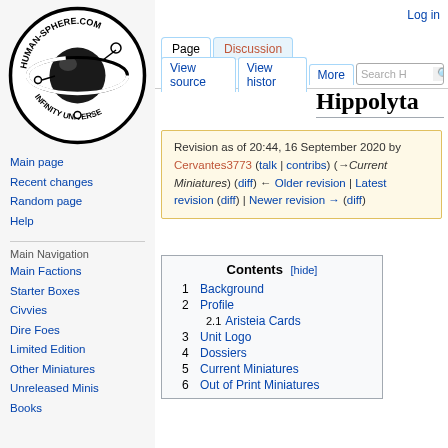[Figure (logo): Human-Sphere.com Infinity Universe circular logo with planet and orbits]
Log in
Main page
Recent changes
Random page
Help
Main Navigation
Main Factions
Starter Boxes
Civvies
Dire Foes
Limited Edition
Other Miniatures
Unreleased Minis
Books
Hippolyta
Revision as of 20:44, 16 September 2020 by Cervantes3773 (talk | contribs) (→Current Miniatures) (diff) ← Older revision | Latest revision (diff) | Newer revision → (diff)
Contents [hide]
1 Background
2 Profile
2.1 Aristeia Cards
3 Unit Logo
4 Dossiers
5 Current Miniatures
6 Out of Print Miniatures